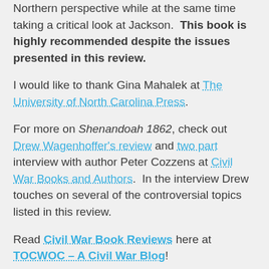Northern perspective while at the same time taking a critical look at Jackson.  This book is highly recommended despite the issues presented in this review.
I would like to thank Gina Mahalek at The University of North Carolina Press.
For more on Shenandoah 1862, check out Drew Wagenhoffer's review and two part interview with author Peter Cozzens at Civil War Books and Authors.  In the interview Drew touches on several of the controversial topics listed in this review.
Read Civil War Book Reviews here at TOCWOC – A Civil War Blog!
Check out Brett's Civil War Books!